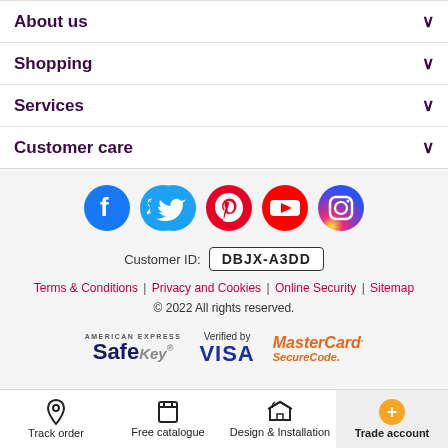About us
Shopping
Services
Customer care
[Figure (infographic): Row of 5 social media icons: Facebook (blue), Twitter (cyan), Pinterest (red), YouTube (red), Instagram (purple gradient)]
Customer ID: DBJX-A3DD
Terms & Conditions | Privacy and Cookies | Online Security | Sitemap
© 2022 All rights reserved.
[Figure (logo): Payment logos: American Express SafeKey, Verified by VISA, MasterCard SecureCode]
Track order | Free catalogue | Design & Installation | Trade account